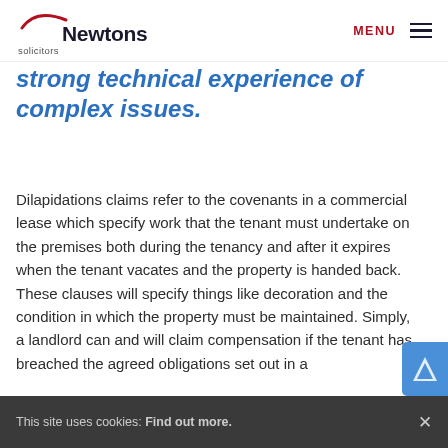Newtons solicitors | MENU
strong technical experience of complex issues.
Dilapidations claims refer to the covenants in a commercial lease which specify work that the tenant must undertake on the premises both during the tenancy and after it expires when the tenant vacates and the property is handed back. These clauses will specify things like decoration and the condition in which the property must be maintained. Simply, a landlord can and will claim compensation if the tenant has breached the agreed obligations set out in a
This site uses cookies: Find out more.